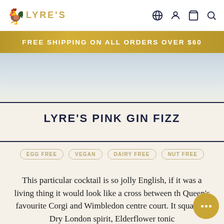LYRE'S
FREE SHIPPING ON ALL ORDERS OVER $60
[Figure (photo): Hero image of a light-colored cocktail drink with pale blue-grey and cream tones]
LYRE'S PINK GIN FIZZ
EGG FREE
VEGAN
DAIRY FREE
NUT FREE
This particular cocktail is so jolly English, if it was a living thing it would look like a cross between the Queen's favourite Corgi and Wimbledon centre court. It squashes Dry London spirit, Elderflower tonic